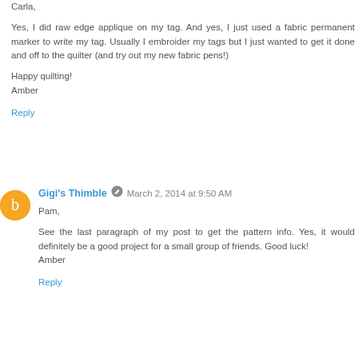Carla,

Yes, I did raw edge applique on my tag. And yes, I just used a fabric permanent marker to write my tag. Usually I embroider my tags but I just wanted to get it done and off to the quilter (and try out my new fabric pens!)

Happy quilting!
Amber
Reply
Gigi's Thimble · March 2, 2014 at 9:50 AM
Pam,

See the last paragraph of my post to get the pattern info. Yes, it would definitely be a good project for a small group of friends. Good luck!
Amber
Reply